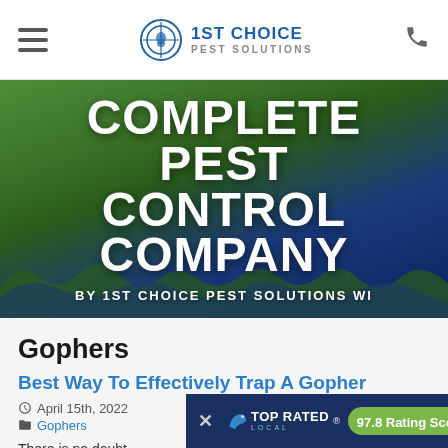1ST CHOICE PEST SOLUTIONS
[Figure (screenshot): Hero banner with grass/landscape background showing text: COMPLETE PEST CONTROL COMPANY BY 1ST CHOICE PEST SOLUTIONS WI]
COMPLETE PEST CONTROL COMPANY
BY 1ST CHOICE PEST SOLUTIONS WI
Gophers
Best Way To Effectively Trap A Gopher
April 15th, 2022
Gophers
There is no doubt ... your property. No
[Figure (infographic): Top Rated Local banner showing 97.8 Rating Score™]